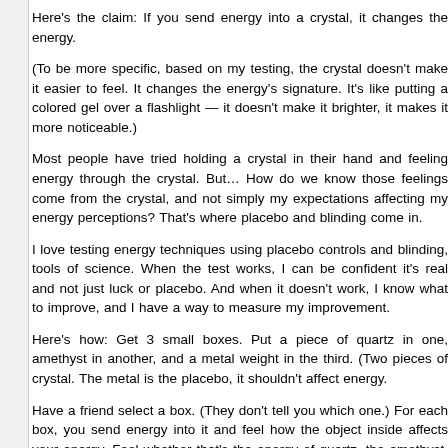Here's the claim: If you send energy into a crystal, it changes the energy.
(To be more specific, based on my testing, the crystal doesn't make it easier to feel. It changes the energy's signature. It's like putting a colored gel over a flashlight — it doesn't make it brighter, it makes it more noticeable.)
Most people have tried holding a crystal in their hand and feeling energy through the crystal. But… How do we know those feelings come from the crystal, and not simply my expectations affecting my energy perceptions? That's where placebo and blinding come in.
I love testing energy techniques using placebo controls and blinding, tools of science. When the test works, I can be confident it's real and not just luck or placebo. And when it doesn't work, I know what to improve, and I have a way to measure my improvement.
Here's how: Get 3 small boxes. Put a piece of quartz in one, amethyst in another, and a metal weight in the third. (Two pieces of crystal. The metal is the placebo, it shouldn't affect energy.
Have a friend select a box. (They don't tell you which one.) For each box, you send energy into it and feel how the object inside affects your energy. Feel whether that's the energy of quartz, the amethyst, or unchanged energy (the placebo weight).
Do this a few times, track your results. Were you abl